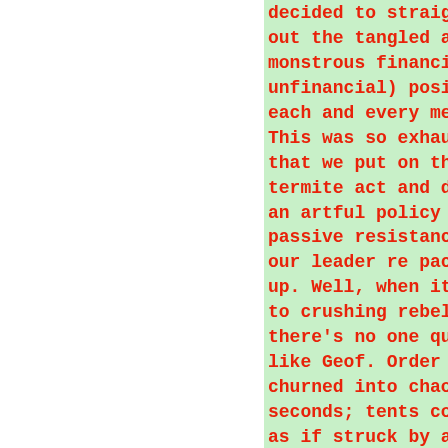decided to straig out the tangled a monstrous financi unfinancial) posi each and every me This was so exhau that we put on th termite act and d an artful policy passive resistanc our leader re pac up. Well, when it to crushing rebel there's no one qu like Geof. Order churned into chao seconds; tents co as if struck by a hurricane; there water everywhere